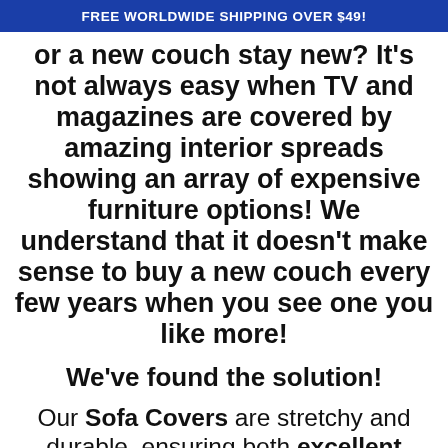FREE WORLDWIDE SHIPPING OVER $49!
or a new couch stay new? It's not always easy when TV and magazines are covered by amazing interior spreads showing an array of expensive furniture options! We understand that it doesn't make sense to buy a new couch every few years when you see one you like more!
We've found the solution!
Our Sofa Covers are stretchy and durable, ensuring both excellent function and comfort! Protect your new sofa from daily wear and tear, spills and stains, or give your favorite old sofa a new, rejuvenated